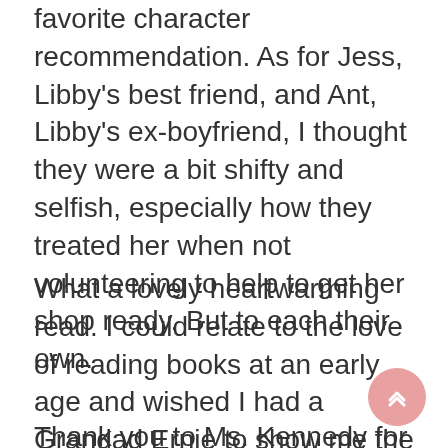favorite character recommendation. As for Jess, Libby's best friend, and Ant, Libby's ex-boyfriend, I thought they were a bit shifty and selfish, especially how they treated her when not volunteering to help to get her shop ready.  But to each their own.
What a lovely heartwarming read. I could relate to the love of reading books at an early age and wished I had a Grandad Ernie to show me the way.  Also, using book titles as chapter names is a clever and nice touch. If you enjoy a pleasing tale with a young and undaunted heroine, a handsome hero, and a colorful collection of wonderful supporting characters, please give this book a try.
Thank you to Ms. Kennedy for giving me the